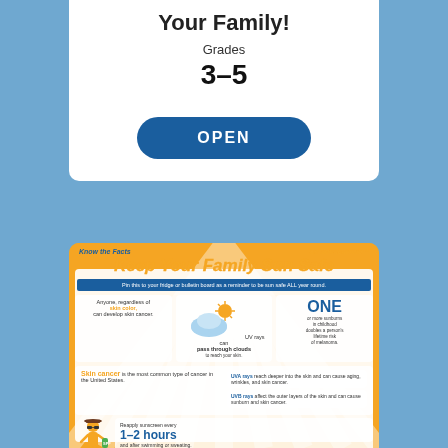Your Family!
Grades
3–5
OPEN
[Figure (infographic): Keep Your Family Sun Safe infographic with sun safety facts including skin color, UV rays through clouds, ONE sunburn risk, skin cancer statistics, UVA and UVB rays information, and reapply sunscreen every 1-2 hours message.]